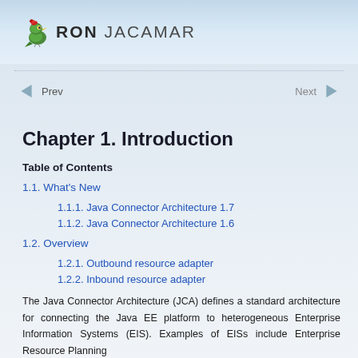IronJacamar logo header
Prev  Next navigation
Chapter 1. Introduction
Table of Contents
1.1. What's New
1.1.1. Java Connector Architecture 1.7
1.1.2. Java Connector Architecture 1.6
1.2. Overview
1.2.1. Outbound resource adapter
1.2.2. Inbound resource adapter
The Java Connector Architecture (JCA) defines a standard architecture for connecting the Java EE platform to heterogeneous Enterprise Information Systems (EIS). Examples of EISs include Enterprise Resource Planning